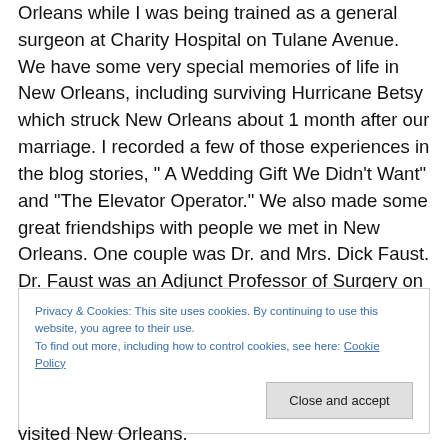Orleans while I was being trained as a general surgeon at Charity Hospital on Tulane Avenue. We have some very special memories of life in New Orleans, including surviving Hurricane Betsy which struck New Orleans about 1 month after our marriage. I recorded a few of those experiences in the blog stories, “ A Wedding Gift We Didn’t Want” and “The Elevator Operator.” We also made some great friendships with people we met in New Orleans. One couple was Dr. and Mrs. Dick Faust. Dr. Faust was an Adjunct Professor of Surgery on the faculty of L.S.U. School of Medicine. As a surgical resident I wrote and
Privacy & Cookies: This site uses cookies. By continuing to use this website, you agree to their use.
To find out more, including how to control cookies, see here: Cookie Policy
visited New Orleans.